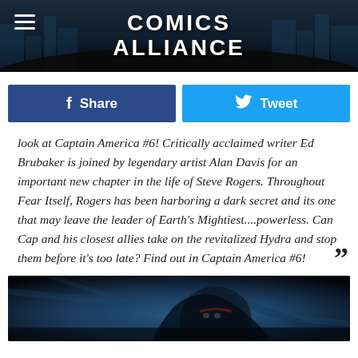Comics Alliance
Share
Tweet
look at Captain America #6! Critically acclaimed writer Ed Brubaker is joined by legendary artist Alan Davis for an important new chapter in the life of Steve Rogers. Throughout Fear Itself, Rogers has been harboring a dark secret and its one that may leave the leader of Earth's Mightiest....powerless. Can Cap and his closest allies take on the revitalized Hydra and stop them before it's too late? Find out in Captain America #6!
[Figure (illustration): Comic book art panel showing Captain America character in dark blue tones with shield visible, dramatic lighting]